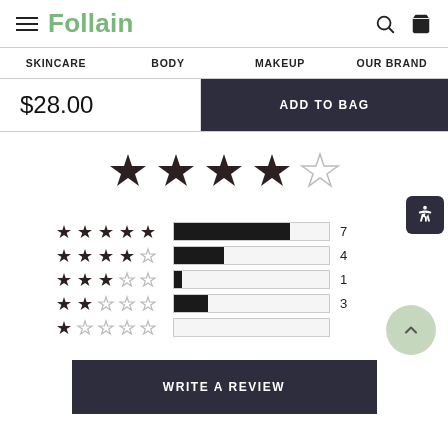Follain
SKINCARE  BODY  MAKEUP  OUR BRAND
$28.00
ADD TO BAG
[Figure (other): 4 out of 5 stars overall rating displayed as large star icons]
| Stars | Bar | Count |
| --- | --- | --- |
| ★★★★★ | 7/15 | 7 |
| ★★★★☆ | 4/15 | 4 |
| ★★★☆☆ | 1/15 | 1 |
| ★★☆☆☆ | 3/15 | 3 |
| ★☆☆☆☆ | 0/15 | 0 |
WRITE A REVIEW